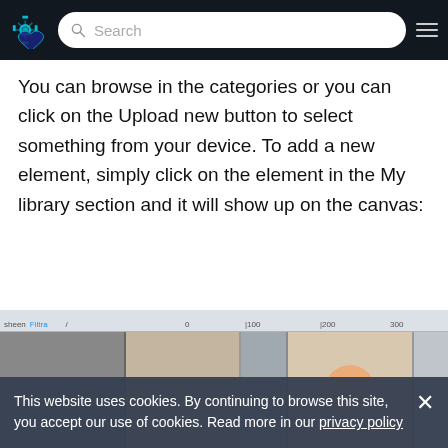[Figure (screenshot): Website navigation bar with a gear/cog logo icon on the left, a search bar in the center with placeholder text 'Search', and a hamburger menu icon on the right, all on a dark background.]
You can browse in the categories or you can click on the Upload new button to select something from your device. To add a new element, simply click on the element in the My library section and it will show up on the canvas:
[Figure (screenshot): Partial screenshot of a web application canvas interface with ruler and thumbnails visible at the bottom.]
This website uses cookies. By continuing to browse this site, you accept our use of cookies. Read more in our privacy policy